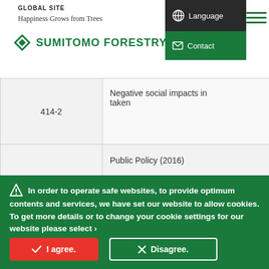GLOBAL SITE
Happiness Grows from Trees
SUMITOMO FORESTRY
| 414-2 | Negative social impacts in taken |
|  | Public Policy (2016) |
⚠ In order to operate safe websites, to provide optimum contents and services, we have set our website to allow cookies. To get more details or to change your cookie settings for our website please select ›
More Information
✓ I agree.
✗ Disagree.